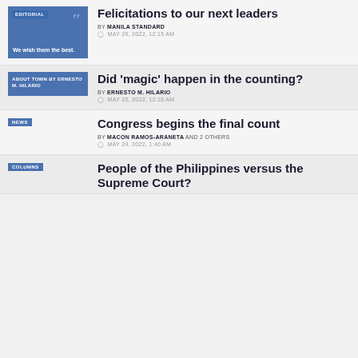[Figure (illustration): Editorial thumbnail: blue background with quotation mark icon and text 'We wish them the best.']
Felicitations to our next leaders
BY MANILA STANDARD
MAY 26, 2022, 12:15 AM
[Figure (illustration): About Town by Ernesto M. Hilario blue label thumbnail]
Did 'magic' happen in the counting?
BY ERNESTO M. HILARIO
MAY 25, 2022, 12:10 AM
[Figure (illustration): News badge thumbnail]
Congress begins the final count
BY MACON RAMOS-ARANETA AND 2 OTHERS
MAY 24, 2022, 1:40 AM
[Figure (illustration): Columns badge thumbnail]
People of the Philippines versus the Supreme Court?